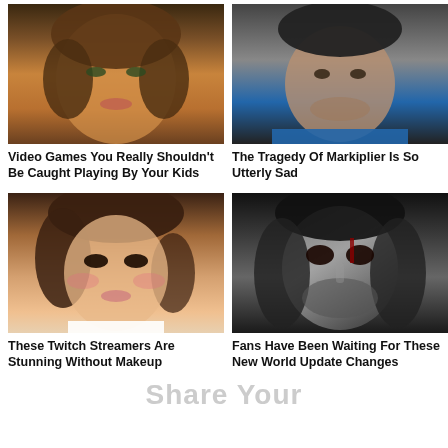[Figure (photo): Close-up of a 3D rendered female character face with brown hair and slightly open lips]
[Figure (photo): Close-up photo of a man with short dark hair wearing a blue shirt, looking directly at camera]
Video Games You Really Shouldn't Be Caught Playing By Your Kids
The Tragedy Of Markiplier Is So Utterly Sad
[Figure (photo): Close-up of a young woman with heavy eye makeup, freckles, and pink cheeks]
[Figure (photo): Close-up of a dark metallic mask or face sculpture with dramatic lighting]
These Twitch Streamers Are Stunning Without Makeup
Fans Have Been Waiting For These New World Update Changes
Share Your